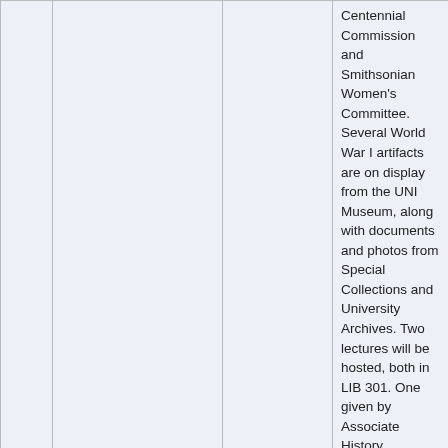| # | Event Name | Date | Description |
| --- | --- | --- | --- |
|  |  |  | Centennial Commission and Smithsonian Women's Committee. Several World War I artifacts are on display from the UNI Museum, along with documents and photos from Special Collections and University Archives. Two lectures will be hosted, both in LIB 301. One given by Associate History Professor Emily Machen the other by Associate History Professor Thomas Connors. |
| 3 | Darwin Week | 2/12/2018 | Uni Freethinkers and Inquirer... |